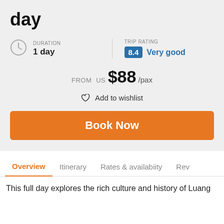day
DURATION
1 day
TRIP RATING
8.4 Very good
FROM US $88 /pax
Add to wishlist
Book Now
Overview
Itinerary
Rates & availabiity
Rev
This full day explores the rich culture and history of Luang